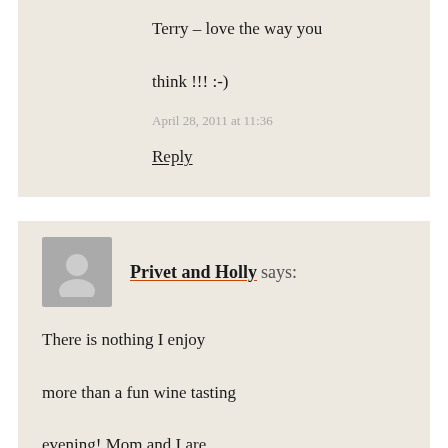Terry – love the way you think !!! :-)
April 28, 2011 at 11:36
Reply
Privet and Holly says:
There is nothing I enjoy more than a fun wine tasting evening! Mom and I are tossing around the idea of